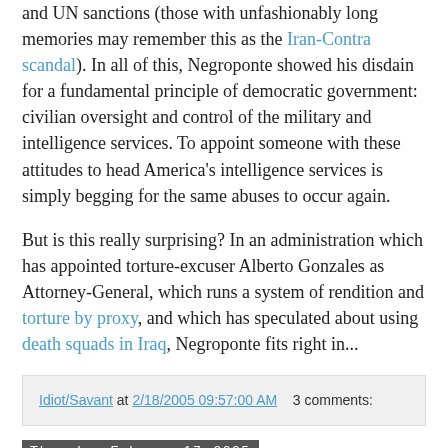and UN sanctions (those with unfashionably long memories may remember this as the Iran-Contra scandal). In all of this, Negroponte showed his disdain for a fundamental principle of democratic government: civilian oversight and control of the military and intelligence services. To appoint someone with these attitudes to head America's intelligence services is simply begging for the same abuses to occur again.
But is this really surprising? In an administration which has appointed torture-excuser Alberto Gonzales as Attorney-General, which runs a system of rendition and torture by proxy, and which has speculated about using death squads in Iraq, Negroponte fits right in...
Idiot/Savant at 2/18/2005 09:57:00 AM   3 comments:
Thursday, February 17, 2005
Well, that worked II
More evidence of the "success" of the US's tough approach